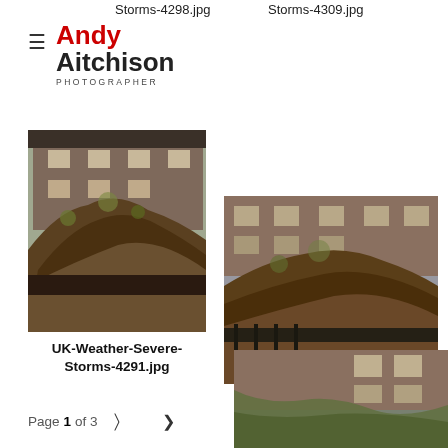Storms-4298.jpg
Storms-4309.jpg
[Figure (logo): Andy Aitchison Photographer logo with hamburger menu icon]
[Figure (photo): Uprooted tree with large root ball visible over brick fence, residential building in background - UK severe weather storm damage]
[Figure (photo): Uprooted tree with large root ball visible over iron fence, residential building in background - UK severe weather storm damage]
UK-Weather-Severe-Storms-4291.jpg
UK-Weather-Severe-Storms-4287.jpg
Page 1 of 3
[Figure (photo): Partial view of storm damage with fallen tree branches near residential building - UK severe weather]